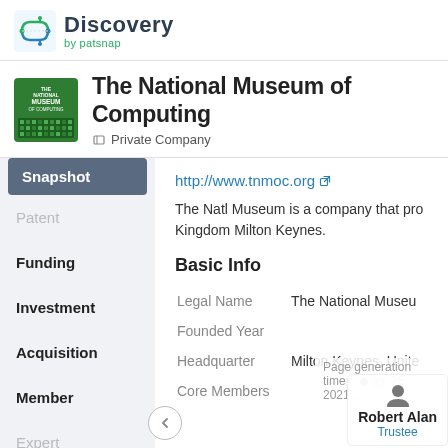Discovery by patsnap
The National Museum of Computing
Private Company
Snapshot
Patent
Funding
Investment
Acquisition
Member
Expert
Financial
http://www.tnmoc.org
The Natl Museum is a company that pro... Kingdom Milton Keynes.
Basic Info
| Field | Value |
| --- | --- |
| Legal Name | The National Museu... |
| Founded Year |  |
| Headquarter | Milton Keynes, Unite... |
| Core Members | Robert Alan |
Page generation time: May 25 2021... Trustee